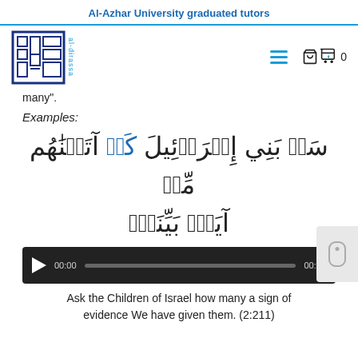Al-Azhar University graduated tutors
[Figure (logo): al-dirassa logo with Arabic calligraphic square design in dark blue, with 'al-dirassa' text in light blue beside it]
many”.
Examples:
سَلْ بَنِي إِسْرَائِيلَ كَمْ آتَيْنَاهُمْ مِّنْ آيَةإ بَيِّنَةإ
[Figure (screenshot): Audio player with play button, 00:00 timestamp, progress bar, and 00:00 end time on dark background]
Ask the Children of Israel how many a sign of evidence We have given them. (2:211)